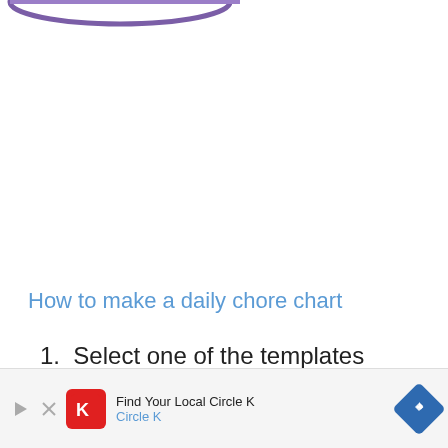[Figure (illustration): Partial logo or graphic at the top of the page, purple/blue tones, cropped]
How to make a daily chore chart
1. Select one of the templates above.
[Figure (other): Advertisement bar at the bottom: 'Find Your Local Circle K' with Circle K logo and navigation arrow icon]